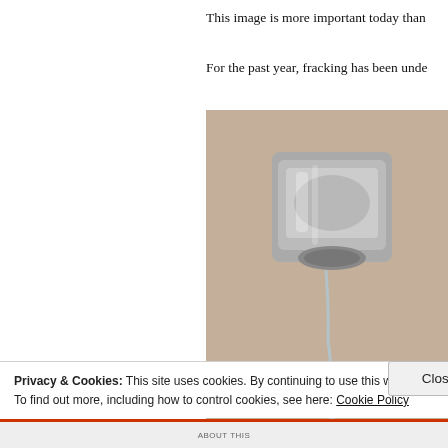This image is more important today than
For the past year, fracking has been unde
[Figure (photo): Close-up photo of a metal water faucet with a water drop falling from it, against a blurred beige background]
NPR r claim have y betwee the ch secrets
In 200 Drinki Enviro on En  e
Privacy & Cookies: This site uses cookies. By continuing to use this website, you agree to their use.
To find out more, including how to control cookies, see here: Cookie Policy
Close and accept